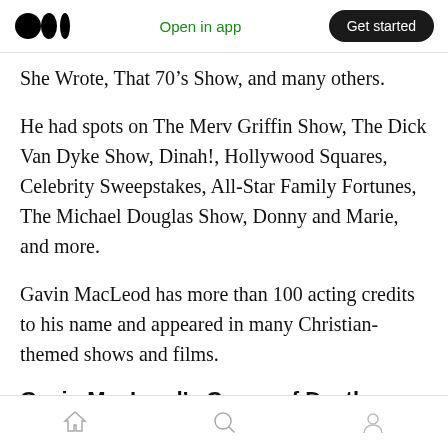Medium logo | Open in app | Get started
She Wrote, That 70’s Show, and many others.
He had spots on The Merv Griffin Show, The Dick Van Dyke Show, Dinah!, Hollywood Squares, Celebrity Sweepstakes, All-Star Family Fortunes, The Michael Douglas Show, Donny and Marie, and more.
Gavin MacLeod has more than 100 acting credits to his name and appeared in many Christian-themed shows and films.
Gavin MacLeod’s Cause of Death Revealed
Home | Search | Profile